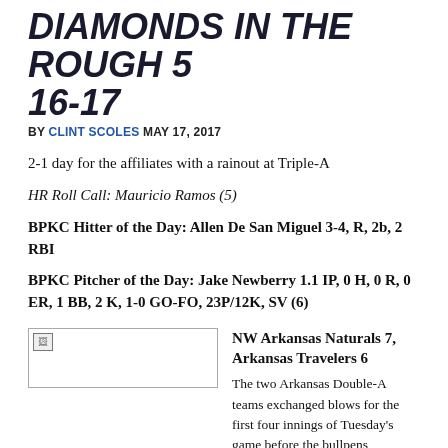DIAMONDS IN THE ROUGH 5 16-17
BY CLINT SCOLES MAY 17, 2017
2-1 day for the affiliates with a rainout at Triple-A
HR Roll Call: Mauricio Ramos (5)
BPKC Hitter of the Day: Allen De San Miguel 3-4, R, 2b, 2 RBI
BPKC Pitcher of the Day: Jake Newberry 1.1 IP, 0 H, 0 R, 0 ER, 1 BB, 2 K, 1-0 GO-FO, 23P/12K, SV (6)
[Figure (photo): Broken image placeholder]
NW Arkansas Naturals 7, Arkansas Travelers 6
The two Arkansas Double-A teams exchanged blows for the first four innings of Tuesday's game before the bullpens